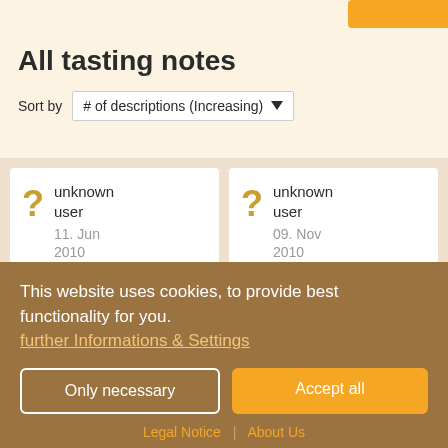All tasting notes
Sort by  # of descriptions (Increasing)
unknown user
11. Jun
2010
★★★★☆
unknown user
09. Nov
2010
★★☆☆☆
This website uses cookies, to provide best functionality for you.
further Informations & Settings
Only necessary
Accept all
Legal Notice | About Us